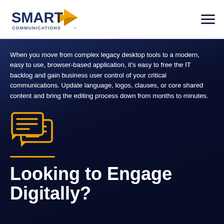[Figure (logo): Smart Communications logo with navy blue SMART text and yellow/gold arrow icon, COMMUNICATIONS text below]
[Figure (illustration): Hamburger menu icon (three horizontal lines) in navy blue]
When you move from complex legacy desktop tools to a modern, easy to use, browser-based application, it's easy to free the IT backlog and gain business user control of your critical communications. Update language, logos, clauses, or core shared content and bring the editing process down from months to minutes.
[Figure (illustration): Two overlapping speech/chat bubble icons with horizontal lines inside, in gold/yellow color outline style]
Looking to Engage Digitally?